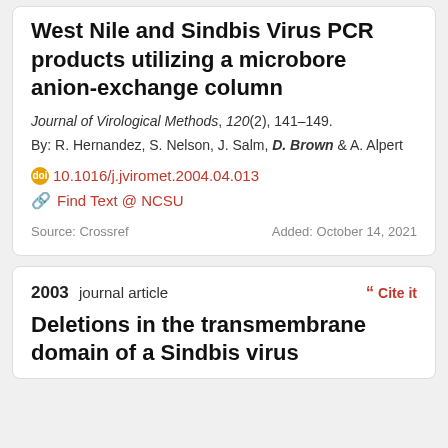West Nile and Sindbis Virus PCR products utilizing a microbore anion-exchange column
Journal of Virological Methods, 120(2), 141–149.
By: R. Hernandez, S. Nelson, J. Salm, D. Brown & A. Alpert
10.1016/j.jviromet.2004.04.013
Find Text @ NCSU
Source: Crossref    Added: October 14, 2021
2003 journal article
Deletions in the transmembrane domain of a Sindbis virus